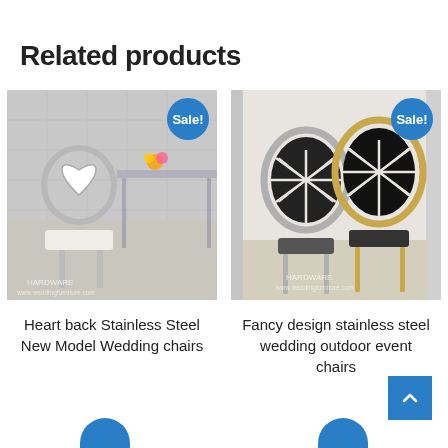Related products
[Figure (photo): Heart back stainless steel wedding chair with white cushion, chrome legs, next to a mirrored table. Sale badge visible. Watermark: www.weddingfurniture.com]
Heart back Stainless Steel New Model Wedding chairs
[Figure (photo): Two fancy oval back stainless steel wedding/event chairs with black velvet cushions and decorative sunburst cutout backs (one silver, one gold). Sale badge visible. Watermark: www.weddingfurniture.com]
Fancy design stainless steel wedding outdoor event chairs